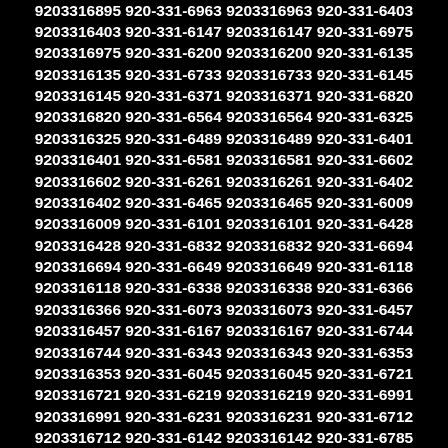6967 9203316967 920-331-6635 9203316635 920-331-6404 9203316404 920-331-6424 9203316424 920-331-6895 9203316895 920-331-6963 9203316963 920-331-6403 9203316403 920-331-6147 9203316147 920-331-6975 9203316975 920-331-6200 9203316200 920-331-6135 9203316135 920-331-6733 9203316733 920-331-6145 9203316145 920-331-6371 9203316371 920-331-6820 9203316820 920-331-6564 9203316564 920-331-6325 9203316325 920-331-6489 9203316489 920-331-6401 9203316401 920-331-6581 9203316581 920-331-6602 9203316602 920-331-6261 9203316261 920-331-6402 9203316402 920-331-6465 9203316465 920-331-6009 9203316009 920-331-6101 9203316101 920-331-6428 9203316428 920-331-6832 9203316832 920-331-6694 9203316694 920-331-6649 9203316649 920-331-6118 9203316118 920-331-6338 9203316338 920-331-6366 9203316366 920-331-6073 9203316073 920-331-6457 9203316457 920-331-6167 9203316167 920-331-6744 9203316744 920-331-6343 9203316343 920-331-6353 9203316353 920-331-6045 9203316045 920-331-6721 9203316721 920-331-6219 9203316219 920-331-6991 9203316991 920-331-6231 9203316231 920-331-6712 9203316712 920-331-6142 9203316142 920-331-6785 9203316785 920-331-6155 9203316155 920-331-6984 9203316984 920-331-6947 9203316947 920-331-6430